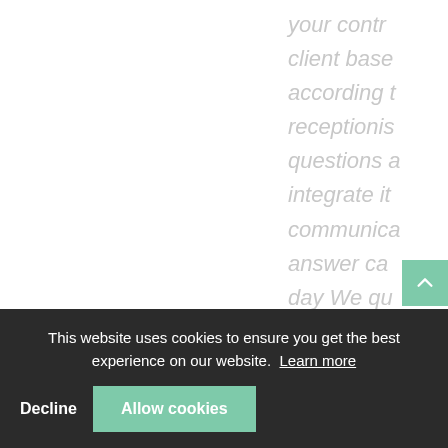your contr client base according t receptionis questions a integrate it communica answer ca day We qu according the job site worry abou handle the
This website uses cookies to ensure you get the best experience on our website. Learn more
Decline
Allow cookies